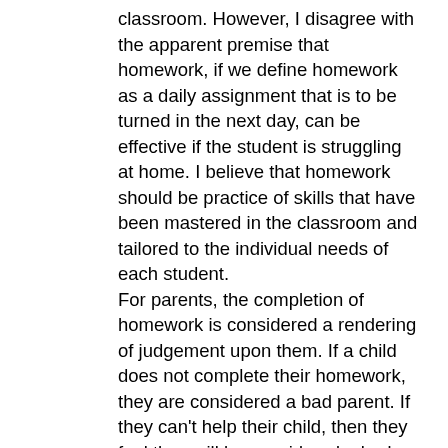classroom. However, I disagree with the apparent premise that homework, if we define homework as a daily assignment that is to be turned in the next day, can be effective if the student is struggling at home. I believe that homework should be practice of skills that have been mastered in the classroom and tailored to the individual needs of each student.
For parents, the completion of homework is considered a rendering of judgement upon them. If a child does not complete their homework, they are considered a bad parent. If they can't help their child, then they feel they will be considered a bad parent and that it will be taken out on their child. Fear begets anger and frustration. They are also right; you've been in teacher's lounges, you know who your colleagues are